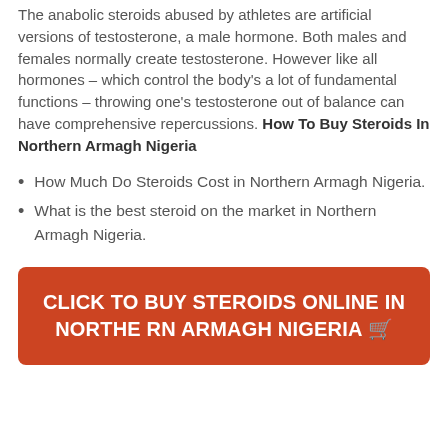The anabolic steroids abused by athletes are artificial versions of testosterone, a male hormone. Both males and females normally create testosterone. However like all hormones – which control the body's a lot of fundamental functions – throwing one's testosterone out of balance can have comprehensive repercussions. How To Buy Steroids In Northern Armagh Nigeria
How Much Do Steroids Cost in Northern Armagh Nigeria.
What is the best steroid on the market in Northern Armagh Nigeria.
CLICK TO BUY STEROIDS ONLINE IN NORTHERN ARMAGH NIGERIA 🛒